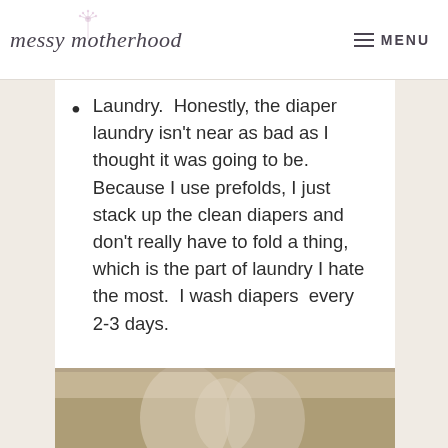messy motherhood  ≡ MENU
Laundry.  Honestly, the diaper laundry isn't near as bad as I thought it was going to be. Because I use prefolds, I just stack up the clean diapers and don't really have to fold a thing, which is the part of laundry I hate the most.  I wash diapers  every 2-3 days.
[Figure (photo): Partial view of a photo showing what appears to be a baby, visible at the bottom of the page.]